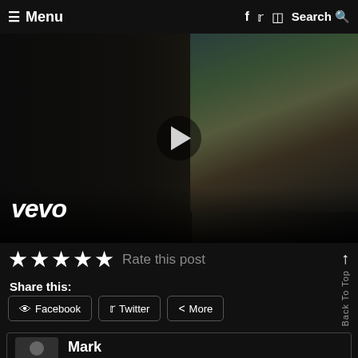≡ Menu   f  Twitter  Instagram  Search
[Figure (screenshot): Vevo music video thumbnail showing dark scene with people in a shop/museum with illuminated display. Large play button in center. Vevo logo in bottom left.]
★★★★★ Rate this post
Share this:
Facebook   Twitter   More
Back To Top
Mark
Website http://www.loudandheavy.com